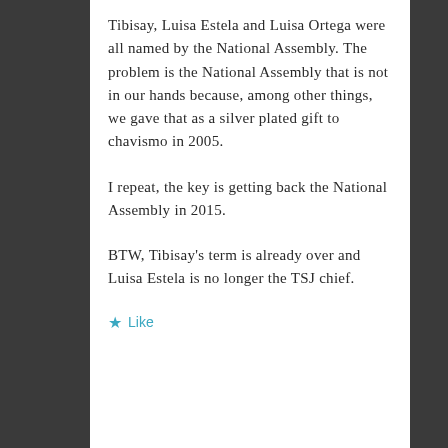Tibisay, Luisa Estela and Luisa Ortega were all named by the National Assembly. The problem is the National Assembly that is not in our hands because, among other things, we gave that as a silver plated gift to chavismo in 2005.
I repeat, the key is getting back the National Assembly in 2015.
BTW, Tibisay's term is already over and Luisa Estela is no longer the TSJ chief.
★ Like